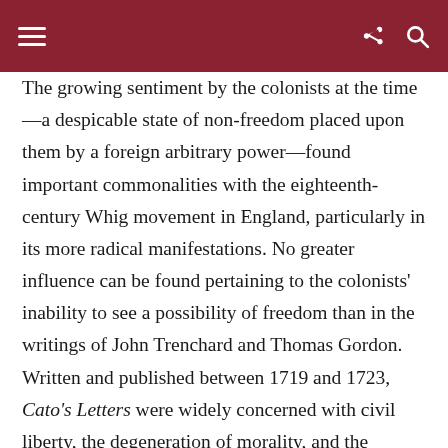navigation header with hamburger menu, share icon, and search icon
The growing sentiment by the colonists at the time—a despicable state of non-freedom placed upon them by a foreign arbitrary power—found important commonalities with the eighteenth-century Whig movement in England, particularly in its more radical manifestations. No greater influence can be found pertaining to the colonists' inability to see a possibility of freedom than in the writings of John Trenchard and Thomas Gordon. Written and published between 1719 and 1723, Cato's Letters were widely concerned with civil liberty, the degeneration of morality, and the growing threat of tyranny within the commonwealth. In Letter No. 62, the two British writers directly confronted the dangers of arbitrary power and how such a power dynamic eradicates personal autonomy. The effects of an unequal power exchange are far-reaching,